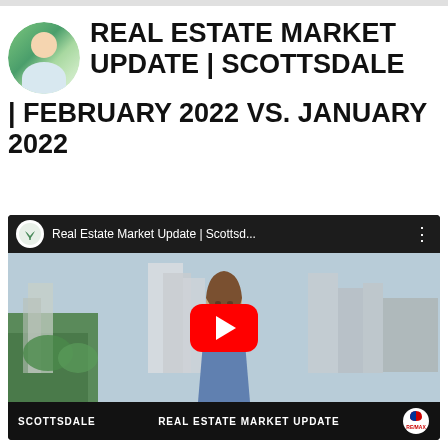REAL ESTATE MARKET UPDATE | SCOTTSDALE | FEBRUARY 2022 VS. JANUARY 2022
[Figure (screenshot): YouTube video thumbnail for 'Real Estate Market Update | Scottsdale...' showing a woman presenter against a city background with a red YouTube play button overlay. Bottom bar shows 'SCOTTSDALE' and 'REAL ESTATE MARKET UPDATE' text and a RE/MAX logo.]